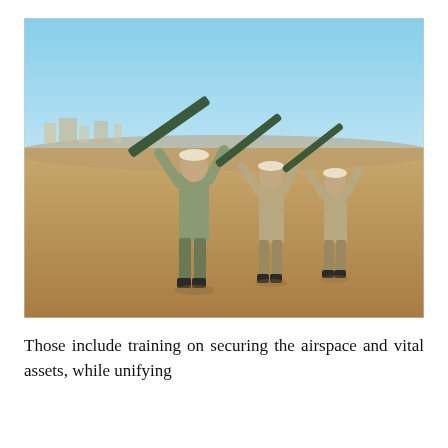[Figure (photo): Three soldiers in camouflage uniforms standing in a sandy desert environment, each holding a shoulder-fired missile launcher (MANPADS) raised diagonally upward. Buildings are visible in the distant background under a clear blue sky.]
Those include training on securing the airspace and vital assets, while unifying